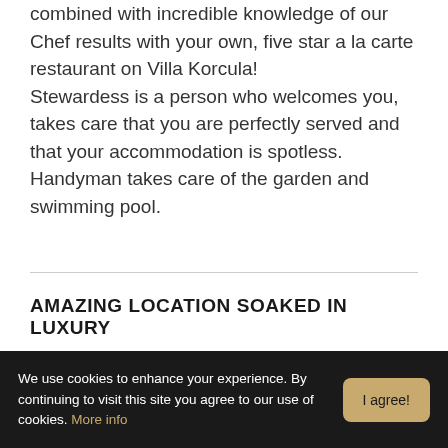combined with incredible knowledge of our Chef results with your own, five star a la carte restaurant on Villa Korcula! Stewardess is a person who welcomes you, takes care that you are perfectly served and that your accommodation is spotless. Handyman takes care of the garden and swimming pool.
AMAZING LOCATION SOAKED IN LUXURY
Korcula is one of the most beautiful and largest of thousands islands in Croatia. Nature has
We use cookies to enhance your experience. By continuing to visit this site you agree to our use of cookies. More info